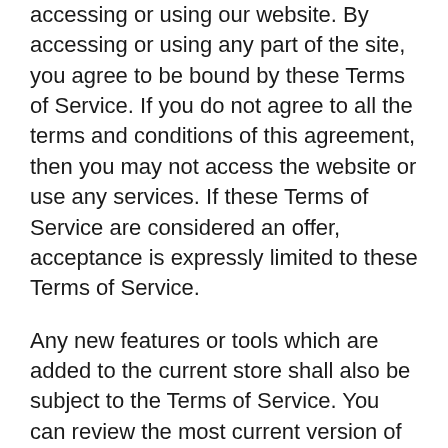accessing or using our website. By accessing or using any part of the site, you agree to be bound by these Terms of Service. If you do not agree to all the terms and conditions of this agreement, then you may not access the website or use any services. If these Terms of Service are considered an offer, acceptance is expressly limited to these Terms of Service.
Any new features or tools which are added to the current store shall also be subject to the Terms of Service. You can review the most current version of the Terms of Service at any time on this page. We reserve the right to update, change or replace any part of these Terms of Service by posting updates and/or changes to our website. It is your responsibility to check this page periodically for changes. Your continued use of or access to the website following the posting of any changes constitutes acceptance of those changes.